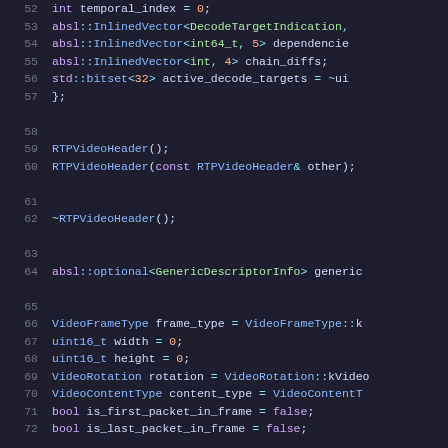[Figure (screenshot): Source code snippet showing C++ class member declarations for RTPVideoHeader, lines 52-72, with syntax highlighting on a dark background.]